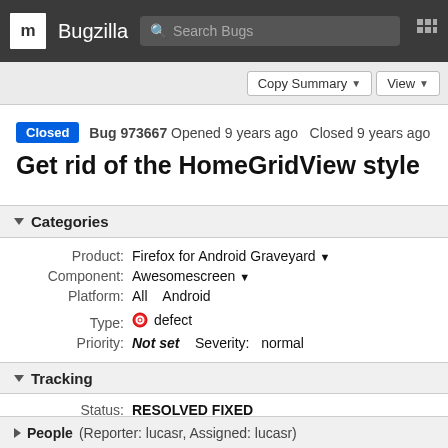m Bugzilla  Search Bugs
Copy Summary  View
Closed  Bug 973667  Opened 9 years ago  Closed 9 years ago
Get rid of the HomeGridView style
Categories
Product: Firefox for Android Graveyard
Component: Awesomescreen
Platform: All  Android
Type: defect
Priority: Not set  Severity: normal
Tracking
Status: RESOLVED FIXED
Milestone: Firefox 30
People (Reporter: lucasr, Assigned: lucasr)